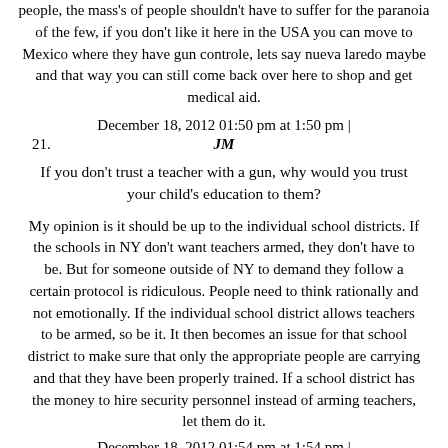people, the mass's of people shouldn't have to suffer for the paranoia of the few, if you don't like it here in the USA you can move to Mexico where they have gun controle, lets say nueva laredo maybe and that way you can still come back over here to shop and get medical aid.
December 18, 2012 01:50 pm at 1:50 pm |
21. JM
If you don't trust a teacher with a gun, why would you trust your child's education to them?
My opinion is it should be up to the individual school districts. If the schools in NY don't want teachers armed, they don't have to be. But for someone outside of NY to demand they follow a certain protocol is ridiculous. People need to think rationally and not emotionally. If the individual school district allows teachers to be armed, so be it. It then becomes an issue for that school district to make sure that only the appropriate people are carrying and that they have been properly trained. If a school district has the money to hire security personnel instead of arming teachers, let them do it.
December 18, 2012 01:54 pm at 1:54 pm |